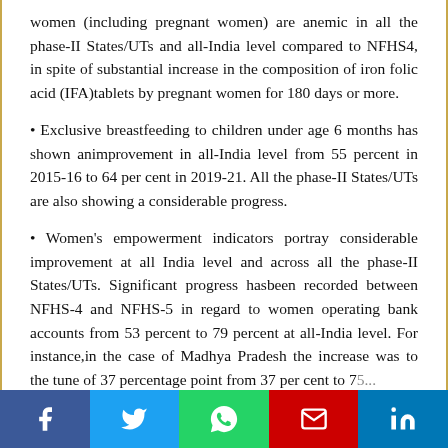women (including pregnant women) are anemic in all the phase-II States/UTs and all-India level compared to NFHS4, in spite of substantial increase in the composition of iron folic acid (IFA)tablets by pregnant women for 180 days or more.
• Exclusive breastfeeding to children under age 6 months has shown an improvement in all-India level from 55 percent in 2015-16 to 64 per cent in 2019-21. All the phase-II States/UTs are also showing a considerable progress.
• Women's empowerment indicators portray considerable improvement at all India level and across all the phase-II States/UTs. Significant progress has been recorded between NFHS-4 and NFHS-5 in regard to women operating bank accounts from 53 percent to 79 percent at all-India level. For instance, in the case of Madhya Pradesh the increase was to the tune of 37 percentage point from 37 per cent to 75 percent. More than 70 percent of women in most states...